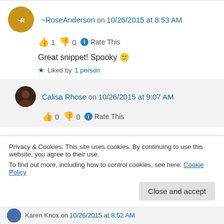~RoseAnderson on 10/26/2015 at 8:53 AM
👍 1 👎 0 ℹ Rate This
Great snippet! Spooky 🙂
★ Liked by 1 person
Calisa Rhose on 10/26/2015 at 9:07 AM
👍 0 👎 0 ℹ Rate This
Privacy & Cookies: This site uses cookies. By continuing to use this website, you agree to their use. To find out more, including how to control cookies, see here: Cookie Policy
Close and accept
Karen Knox on 10/26/2015 at 8:52 AM